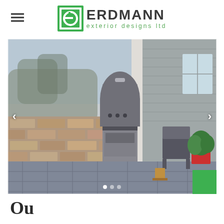[Figure (logo): Erdmann Exterior Designs Ltd logo with green square icon containing stylized 'e' letter, and company name in bold dark letters with green tagline 'exterior designs ltd']
[Figure (photo): Outdoor patio scene showing a built-in BBQ grill on a stone/brick wall structure with stainless steel accents, paving stone patio, outdoor chair with plant in red pot, house siding visible in background, autumn/winter trees in background. Navigation arrows on left and right sides, dot indicator at bottom, green square button in bottom right corner.]
Ou